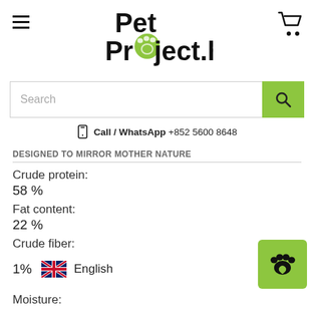PetProject.hk
Search
Call / WhatsApp +852 5600 8648
DESIGNED TO MIRROR MOTHER NATURE
Crude protein:
58 %
Fat content:
22 %
Crude fiber:
1%
English
Moisture: